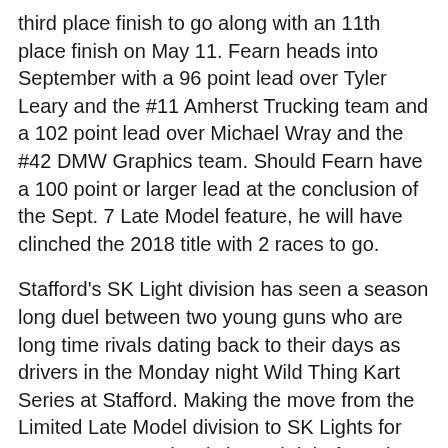third place finish to go along with an 11th place finish on May 11. Fearn heads into September with a 96 point lead over Tyler Leary and the #11 Amherst Trucking team and a 102 point lead over Michael Wray and the #42 DMW Graphics team. Should Fearn have a 100 point or larger lead at the conclusion of the Sept. 7 Late Model feature, he will have clinched the 2018 title with 2 races to go.
Stafford's SK Light division has seen a season long duel between two young guns who are long time rivals dating back to their days as drivers in the Monday night Wild Thing Kart Series at Stafford. Making the move from the Limited Late Model division to SK Lights for 2018, Bryan Narducci showed right from the beginning of the season that his rookie status wasn't going to limit his success in any way. As the driver of the #01 The Florida Connection Chevrolet he scored top-4 finishes in 8 of the first 10 races of the season. For the season to date, Narducci has 4 wins and has only 4